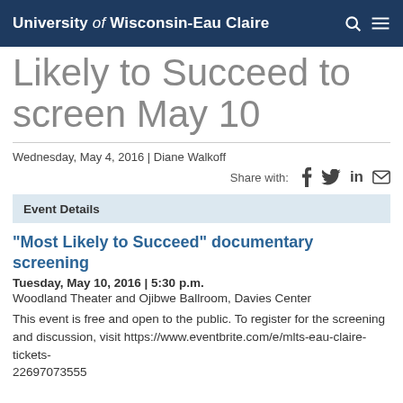University of Wisconsin-Eau Claire
Likely to Succeed to screen May 10
Wednesday, May 4, 2016 | Diane Walkoff
Share with: f  in  [mail]
Event Details
"Most Likely to Succeed" documentary screening
Tuesday, May 10, 2016 | 5:30 p.m.
Woodland Theater and Ojibwe Ballroom, Davies Center
This event is free and open to the public. To register for the screening and discussion, visit https://www.eventbrite.com/e/mlts-eau-claire-tickets-22697973555